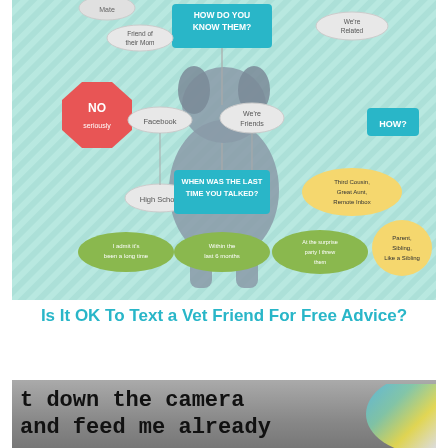[Figure (flowchart): A flowchart infographic titled 'How Do You Know Them?' with a dog silhouette in the center. Nodes include: Mate, Friend of their Mom, We're Related, NO seriously, Facebook, We're Friends, HOW?, High School, WHEN WAS THE LAST TIME YOU TALKED?, Third Cousin, Great Aunt, Remote Inbox, I admit it's been a long time, Within the last 6 months, At the surprise party I threw them, Parent, Sibling, Like a Sibling, I was asking for pet advice, WHAT DID YOU TALK ABOUT?, What donuts I should bring to my vet, YES (but we'll still probably tell you to go to the vet), Don't want to pay, Don't want to drive, Just hanging out, To write.]
Is It OK To Text a Vet Friend For Free Advice?
[Figure (photo): A photo showing text written on a gray surface reading 't down the camera and feed me already' in black handwritten-style font, with a colorful object partially visible on the right.]